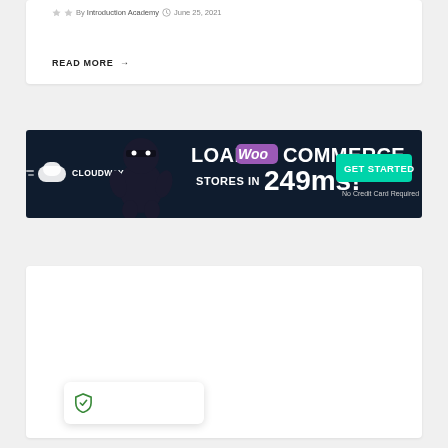By Introduction Academy  June 25, 2021
READ MORE →
[Figure (infographic): Cloudways advertisement banner: LOAD WOO COMMERCE STORES IN 249ms! GET STARTED — No Credit Card Required]
[Figure (other): White card area — empty content block]
[Figure (other): Shield/security badge icon in bottom-left corner of white card]